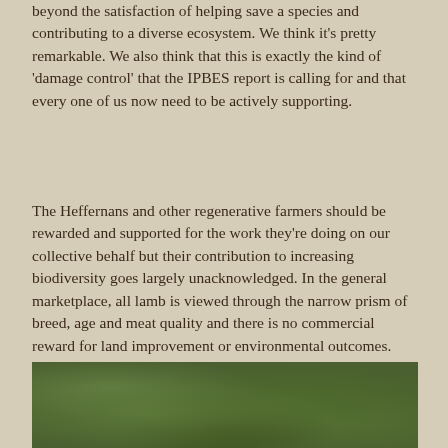beyond the satisfaction of helping save a species and contributing to a diverse ecosystem. We think it's pretty remarkable. We also think that this is exactly the kind of 'damage control' that the IPBES report is calling for and that every one of us now need to be actively supporting.
The Heffernans and other regenerative farmers should be rewarded and supported for the work they're doing on our collective behalf but their contribution to increasing biodiversity goes largely unacknowledged. In the general marketplace, all lamb is viewed through the narrow prism of breed, age and meat quality and there is no commercial reward for land improvement or environmental outcomes. Nor is there enough media and community attention paid to the multiple small projects like the Moorlands fish reserve. This must change.
[Figure (photo): A blurred outdoor photograph showing green foliage and bokeh background, partially visible at the bottom of the page.]